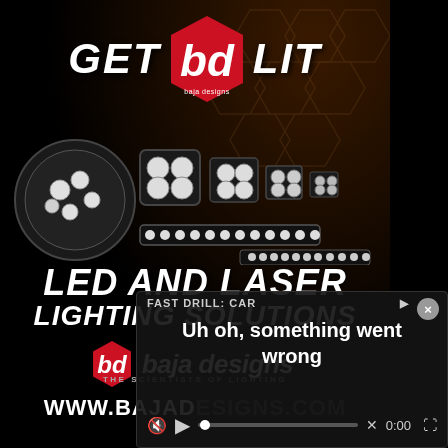[Figure (advertisement): Baja Designs advertisement on dark background with hexagon logo and product photos of LED/laser lights. Text reads GET [BD logo] LIT, LED AND LASER LIGHTING SOLUTIONS, baja designs THE SCIENTISTS OF LIGHTING, WWW.BAJADESIGNS.COM]
[Figure (screenshot): Video player error overlay in bottom-right corner showing 'FAST DRILL: CAR' header, 'Uh oh, something went wrong' error message, video controls with play button, mute icon, progress bar, X button, 0:00 timestamp, and fullscreen icon. Close button (x) in top right.]